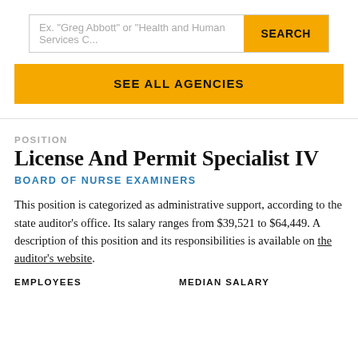[Figure (screenshot): Search bar with placeholder text 'Ex. "Greg Abbott" or "Health and Human Services C...' and a yellow SEARCH button]
SEE ALL AGENCIES
POSITION
License And Permit Specialist IV
BOARD OF NURSE EXAMINERS
This position is categorized as administrative support, according to the state auditor's office. Its salary ranges from $39,521 to $64,449. A description of this position and its responsibilities is available on the auditor's website.
EMPLOYEES
MEDIAN SALARY